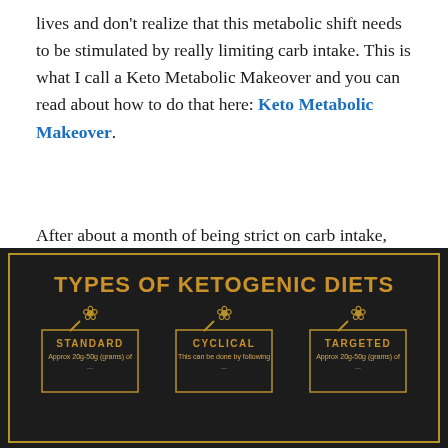lives and don't realize that this metabolic shift needs to be stimulated by really limiting carb intake. This is what I call a Keto Metabolic Makeover and you can read about how to do that here: Keto Metabolic Makeover.
After about a month of being strict on carb intake, you can begin what is called a carb cycling program where you consume a higher carb meal once a week using things like berries, sweet potatoes, carrots and beets if you tolerate them well.
[Figure (infographic): Infographic on dark background showing 'TYPES OF KETOGENIC DIETS' with three columns: Standard, Cyclical, and Targeted, each with a wheat icon and bordered box with a label and small descriptive text.]